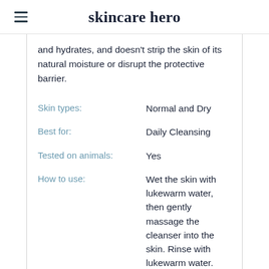skincare hero
and hydrates, and doesn't strip the skin of its natural moisture or disrupt the protective barrier.
Skin types: Normal and Dry
Best for: Daily Cleansing
Tested on animals: Yes
How to use: Wet the skin with lukewarm water, then gently massage the cleanser into the skin. Rinse with lukewarm water.